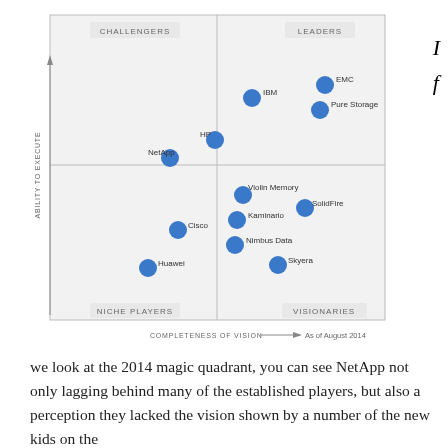[Figure (other): Gartner Magic Quadrant for Solid-State Arrays as of August 2014. Four quadrants: Challengers (top-left), Leaders (top-right), Niche Players (bottom-left), Visionaries (bottom-right). Axes: Completeness of Vision (x) and Ability to Execute (y). Vendors plotted: IBM, EMC, Pure Storage (Leaders); HP, NetApp (Challengers); Violin Memory, SolidFire, Kaminario, Nimbus Data, Skyera (Visionaries); Cisco, Huawei (Niche Players).]
we look at the 2014 magic quadrant, you can see NetApp not only lagging behind many of the established players, but also a perception they lacked the vision shown by a number of the new kids on the